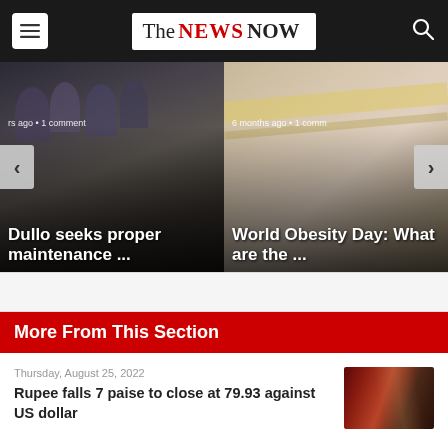The NEWS NOW
[Figure (screenshot): News carousel showing two articles: 'Dullo seeks proper maintenance ...' with meeting photo, and 'World Obesity Day: What are the ...' with measuring tape photo. Navigation arrows on both sides.]
More From This Section
Thursday, August 25, 2022
Rupee falls 7 paise to close at 79.93 against US dollar